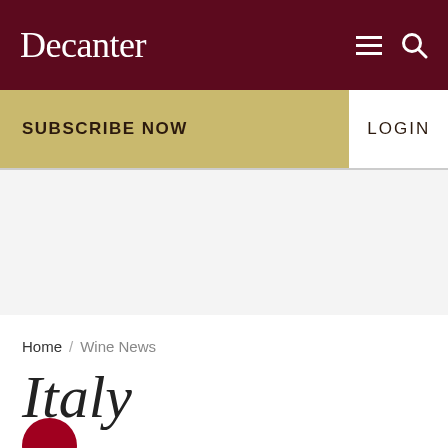Decanter
SUBSCRIBE NOW
LOGIN
Home / Wine News
Italy